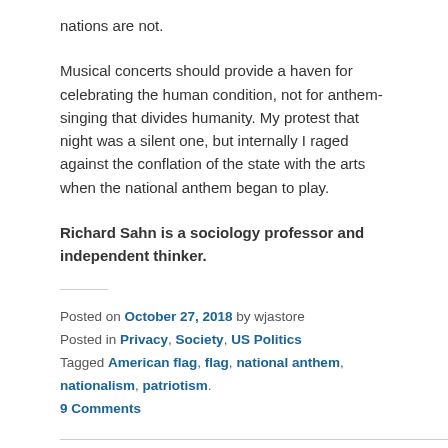nations are not.
Musical concerts should provide a haven for celebrating the human condition, not for anthem-singing that divides humanity. My protest that night was a silent one, but internally I raged against the conflation of the state with the arts when the national anthem began to play.
Richard Sahn is a sociology professor and independent thinker.
Posted on October 27, 2018 by wjastore
Posted in Privacy, Society, US Politics
Tagged American flag, flag, national anthem, nationalism, patriotism.
9 Comments
Frederick Douglass on